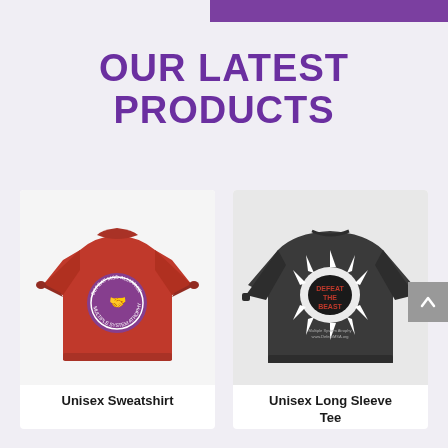OUR LATEST PRODUCTS
[Figure (photo): Red unisex sweatshirt with a circular purple logo/emblem on the chest]
Unisex Sweatshirt
[Figure (photo): Dark grey unisex long sleeve tee with a monster mouth/beast graphic and 'Defeat the Beast' text]
Unisex Long Sleeve Tee